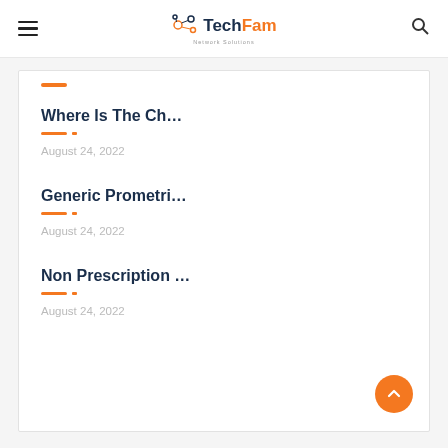TechFam Network Solutions
Where Is The Ch…
August 24, 2022
Generic Prometri…
August 24, 2022
Non Prescription …
August 24, 2022